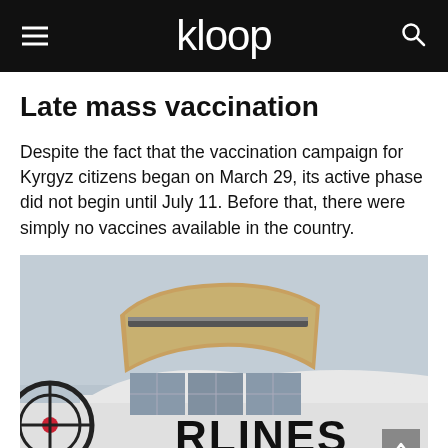kloop
Late mass vaccination
Despite the fact that the vaccination campaign for Kyrgyz citizens began on March 29, its active phase did not begin until July 11. Before that, there were simply no vaccines available in the country.
[Figure (photo): An airplane with open cargo hold showing stacked boxes/crates, with the word RLINES visible on the fuselage, under an overcast sky.]